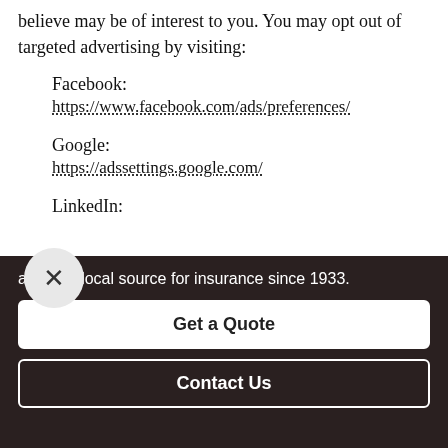believe may be of interest to you. You may opt out of targeted advertising by visiting:
Facebook:
https://www.facebook.com/ads/preferences/
Google:
https://adssettings.google.com/
LinkedIn:
are your local source for insurance since 1933.
Get a Quote
Contact Us